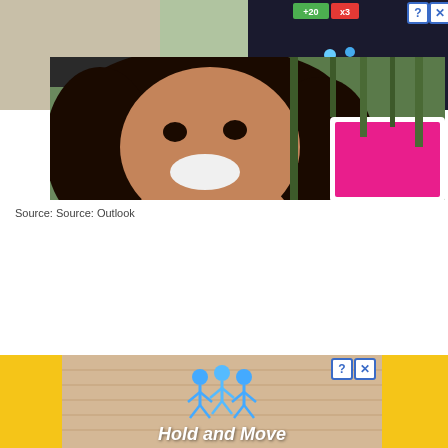[Figure (screenshot): Top advertisement banner showing a mobile game 'Hold and Move' with dark background, score indicators (+20, x3), blue stick figures, and ad close controls (? and X buttons)]
[Figure (photo): Photo of a smiling South Asian woman in a car holding a pink tablet or device, with trees visible through the window]
Source: Source: Outlook
[Figure (screenshot): Bottom advertisement banner for mobile game 'Hold and Move' showing blue stick figures on a wood-textured background with ? and X close buttons]